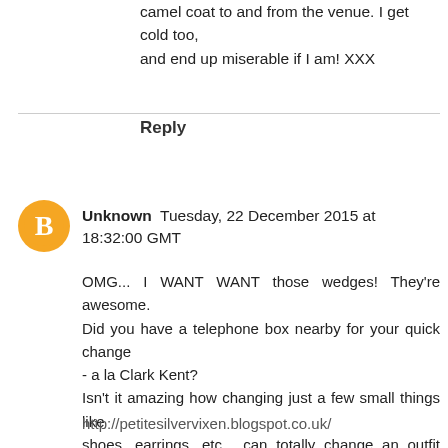camel coat to and from the venue. I get cold too, and end up miserable if I am! XXX
Reply
Unknown  Tuesday, 22 December 2015 at 18:32:00 GMT
OMG... I WANT WANT those wedges! They're awesome. Did you have a telephone box nearby for your quick change - a la Clark Kent?
Isn't it amazing how changing just a few small things like shoes, earrings, etc... can totally change an outfit from day to night. Just shows how you can make things simple yet uber stylish!
http://petitesilvervixen.blogspot.co.uk/
REPLY
Replies
Samantha @FakeFabulous  Tuesday, 22